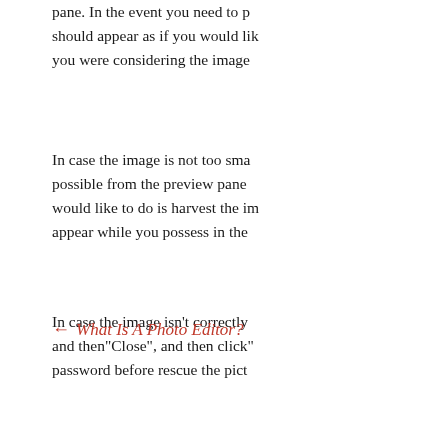pane. In the event you need to p... should appear as if you would lik... you were considering the image...
In case the image is not too sma... possible from the preview pane... would like to do is harvest the im... appear while you possess in the...
In case the image isn't correctly... and then"Close", and then click"... password before rescue the pict...
← What Is A Photo Editor?